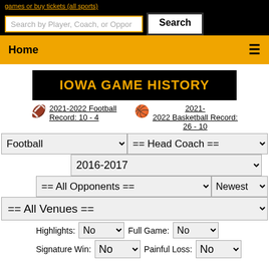games or buy tickets (all sports)
Search by Player, Coach, or Opponent
Search
Home
IOWA GAME HISTORY
2021-2022 Football Record: 10 - 4
2021-2022 Basketball Record: 26 - 10
Football | == Head Coach ==
2016-2017
== All Opponents == | Newest
== All Venues ==
Highlights: No  Full Game: No
Signature Win: No  Painful Loss: No